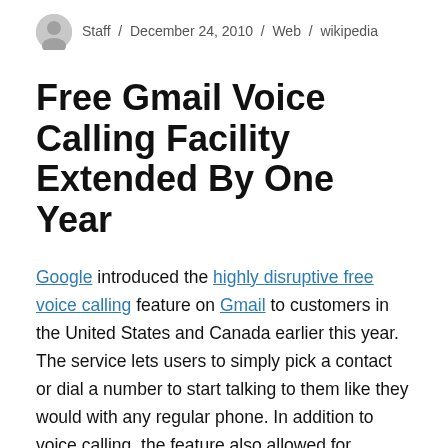Staff / December 24, 2010 / Web / wikipedia
Free Gmail Voice Calling Facility Extended By One Year
Google introduced the highly disruptive free voice calling feature on Gmail to customers in the United States and Canada earlier this year. The service lets users to simply pick a contact or dial a number to start talking to them like they would with any regular phone. In addition to voice calling, the feature also allowed for